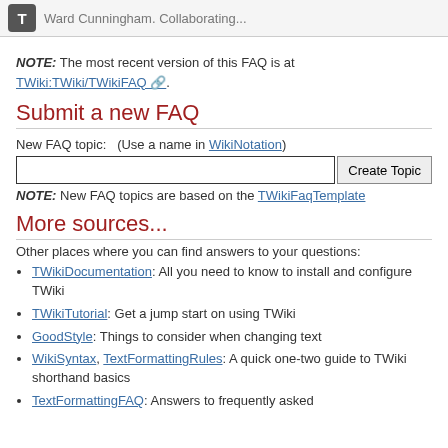Ward Cunningham. Collaborating...
NOTE: The most recent version of this FAQ is at TWiki:TWiki/TWikiFAQ.
Submit a new FAQ
New FAQ topic:   (Use a name in WikiNotation)
NOTE: New FAQ topics are based on the TWikiFaqTemplate
More sources...
Other places where you can find answers to your questions:
TWikiDocumentation: All you need to know to install and configure TWiki
TWikiTutorial: Get a jump start on using TWiki
GoodStyle: Things to consider when changing text
WikiSyntax, TextFormattingRules: A quick one-two guide to TWiki shorthand basics
TextFormattingFAQ: Answers to frequently asked